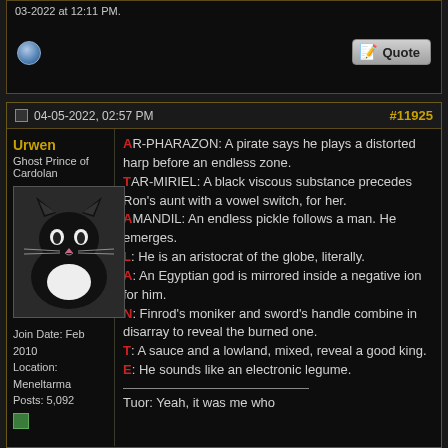04-05-2022, 02:57 PM
#11925
Urwen
Ghost Prince of Cardolan
[Figure (photo): Avatar image of a black and white cat]
Join Date: Feb 2010
Location: Meneltarma
Posts: 5,092
AR-PHARAZON: A pirate says he plays a distorted harp before an endless zone.
TAR-MIRIEL: A black viscous substance precedes Ron's aunt with a vowel switch, for her.
AMANDIL: An endless pickle follows a man. He emerges.
L: He is an aristocrat of the globe, literally.
A: An Egyptian god is mirrored inside a negative ion for him.
N: Finrod's moniker and sword's handle combine in disarray to reveal the burned one.
T: A sauce and a lowland, mixed, reveal a good king.
E: He sounds like an electronic legume.

Tuor: Yeah, it was me who